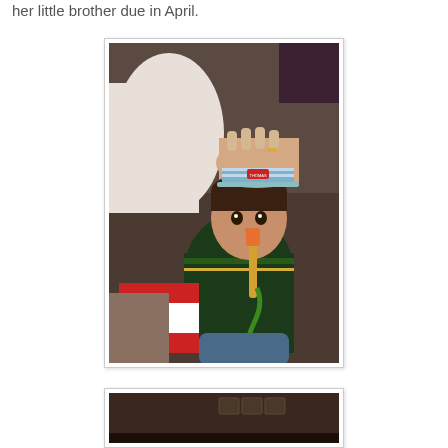her little brother due in April.
[Figure (photo): A young boy wearing a Thomas the Tank Engine hat and a dark green Reebok jersey, eating a treat/popsicle. An adult hand is placing the hat on his head. A gift box with red and white wrapping is visible beside him. The scene appears to be at a holiday or birthday gathering indoors.]
[Figure (photo): Partial view of an indoor room, dimly lit, with framed pictures on the wall and a small child visible at the bottom left.]